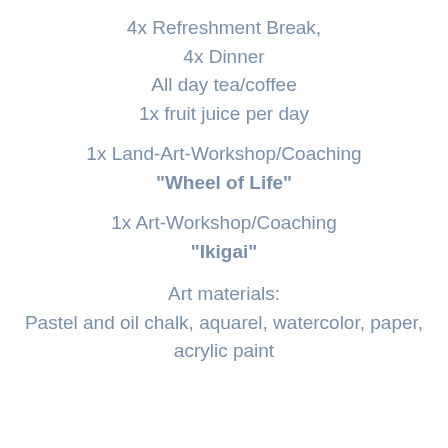4x Refreshment Break,
4x Dinner
All day tea/coffee
1x fruit juice per day
1x Land-Art-Workshop/Coaching “Wheel of Life”
1x Art-Workshop/Coaching “Ikigai”
Art materials:
Pastel and oil chalk, aquarel, watercolor, paper, acrylic paint